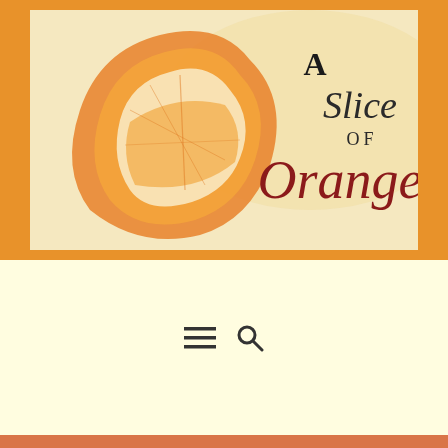[Figure (logo): A Slice of Orange blog logo featuring an illustration of an orange peel/slice watercolor artwork with the text 'A Slice of Orange' in decorative serif and script fonts]
[Figure (infographic): Navigation icons: hamburger menu icon (three horizontal lines) and a search/magnifying glass icon]
Tag: Print